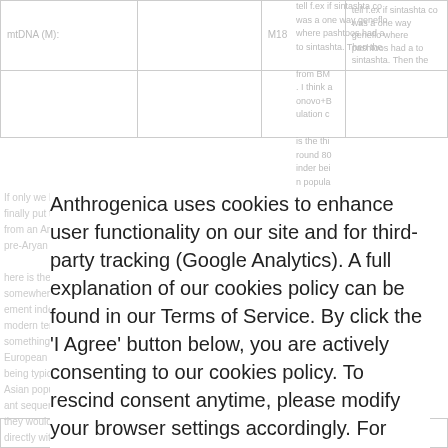| mtDNA (M): |  | M18 |
| --- | --- | --- |
Anthrogenica uses cookies to enhance user functionality on our site and for third-party tracking (Google Analytics). A full explanation of our cookies policy can be found in our Terms of Service. By click the 'I Agree' button below, you are actively consenting to our cookies policy. To rescind consent anytime, please modify your browser settings accordingly. For further information regarding your privacy and our policies, please specifically refer to sections 1.6, 5.5-5.8 and 6.9.
I agree